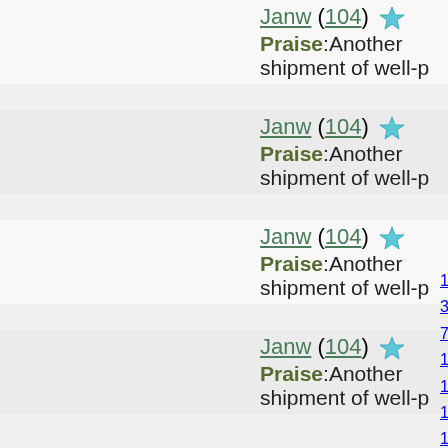Janw (104) ★ Praise:Another shipment of well-p
Janw (104) ★ Praise:Another shipment of well-p
Janw (104) ★ Praise:Another shipment of well-p
Janw (104) ★ Praise:Another shipment of well-p
1 2 3 4 5 6 7 8 9 37 38 39 40 41 70 71 72 73 74 102 103 104 105 126 127 128 129 150 151 152 153 174 175 176 177 198 199 200 201 222 223 224 225 246 247 248 249 270 271 272 273 294 295 296 297 318 319 320 321 342 343 344 345